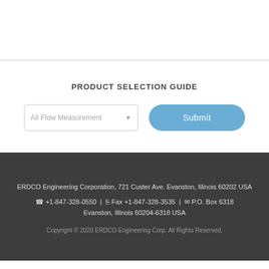PRODUCT SELECTION GUIDE
All Flow Measurement  ▾   Submit
ERDCO Engineering Corporation, 721 Custer Ave. Evanston, Illinois 60202 USA
📞 +1-847-328-0550 | 📠 Fax +1-847-328-3535 | ✉ P.O. Box 6318 Evanston, Illinois 60204-6318 USA
Copyright © 2020 ERDCO Engineering Corp. All Rights Reserved.